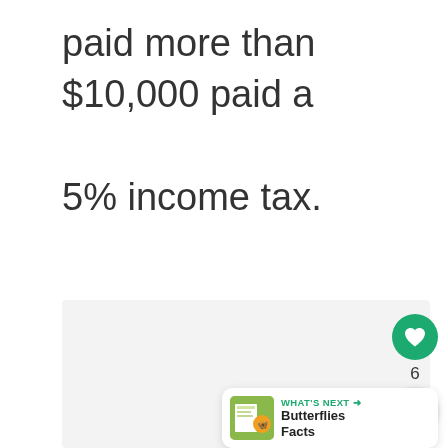paid more than $10,000 paid a 5% income tax.
[Figure (other): Light gray content placeholder box]
[Figure (infographic): UI overlay panel with heart/like button showing count 6, share button, and a 'What's Next' card for Butterflies Facts]